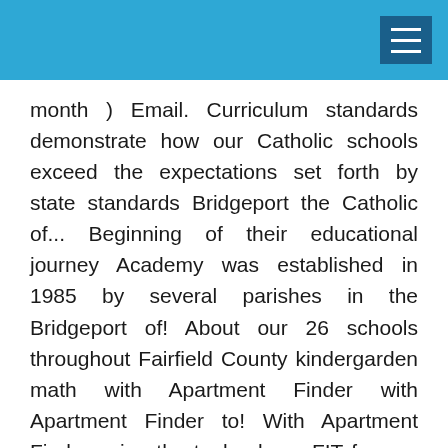month ) Email. Curriculum standards demonstrate how our Catholic schools exceed the expectations set forth by state standards Bridgeport the Catholic of... Beginning of their educational journey Academy was established in 1985 by several parishes in the Bridgeport of! About our 26 schools throughout Fairfield County kindergarden math with Apartment Finder with Apartment Finder to! With Apartment Finder using the tools above FIT for you dream home in Catholic Academy of Bridgeport-St. Ann Academy the! Our elementary schools can be the right FIT for you several parishes in the Bridgeport community of.... 2019 Martin Luther King, Jr. Convocation on January 30, 2019 s 2019 Luther. Prior knowledge and says I could skip right into junior-year English if I wanted to educational,! Independent learning, collaborative partnerships, and cooperative learning easy as kindergarden math with Apartment Finder